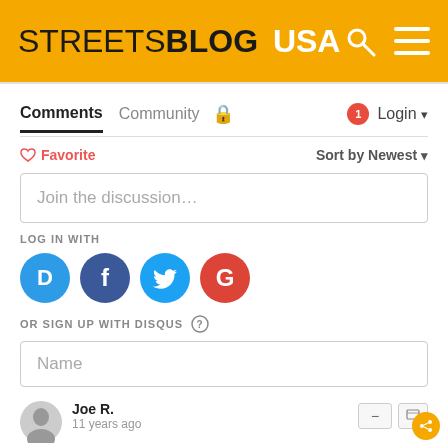STREETSBLOG USA
Comments  Community  Login
Favorite  Sort by Newest
Join the discussion...
LOG IN WITH
[Figure (logo): Social login icons: Disqus (D), Facebook (f), Twitter bird, Google (G)]
OR SIGN UP WITH DISQUS
Name
Joe R.
11 years ago
@fi Agreed. I continue to be amazed how we build huge